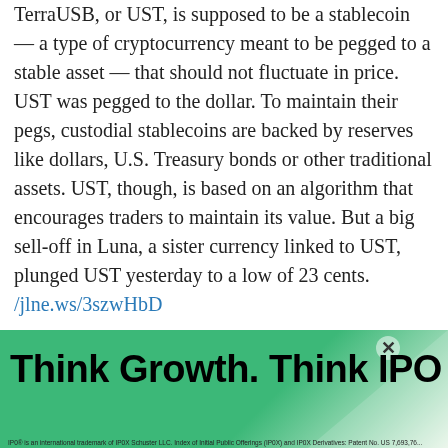TerraUSB, or UST, is supposed to be a stablecoin — a type of cryptocurrency meant to be pegged to a stable asset — that should not fluctuate in price. UST was pegged to the dollar. To maintain their pegs, custodial stablecoins are backed by reserves like dollars, U.S. Treasury bonds or other traditional assets. UST, though, is based on an algorithm that encourages traders to maintain its value. But a big sell-off in Luna, a sister currency linked to UST, plunged UST yesterday to a low of 23 cents. /jlne.ws/3szwHbD
Tether
[Figure (infographic): Share This Story overlay popup with social media icons (Facebook, LinkedIn, Twitter, Google+, and another icon) and a close button]
[Figure (infographic): Advertisement banner: 'Think Growth. Think IPO' with IPO logo mark and footnote text about trademarks]